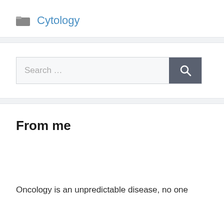Cytology
[Figure (other): Search bar with text 'Search ...' and a dark search button with magnifying glass icon]
From me
Oncology is an unpredictable disease, no one